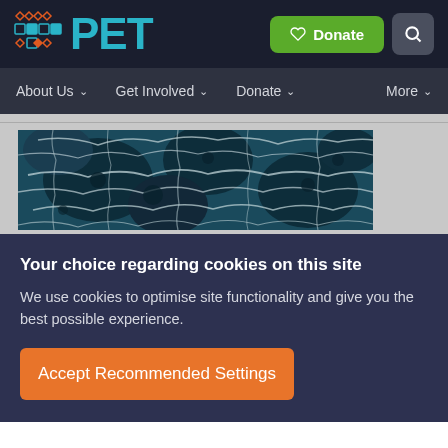PET — Header with logo, Donate button, and search
About Us
Get Involved
Donate
More
[Figure (photo): Close-up aerial or microscopic view of dark blue ocean surface with white foam/bubble patterns forming a cell-like network]
Your choice regarding cookies on this site
We use cookies to optimise site functionality and give you the best possible experience.
Accept Recommended Settings